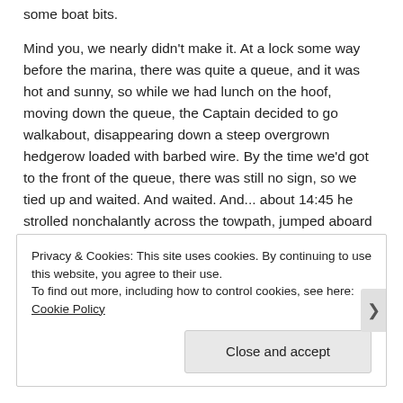some boat bits.
Mind you, we nearly didn't make it. At a lock some way before the marina, there was quite a queue, and it was hot and sunny, so while we had lunch on the hoof, moving down the queue, the Captain decided to go walkabout, disappearing down a steep overgrown hedgerow loaded with barbed wire. By the time we'd got to the front of the queue, there was still no sign, so we tied up and waited. And waited. And... about 14:45 he strolled nonchalantly across the towpath, jumped aboard and investigated his food bowl.
Privacy & Cookies: This site uses cookies. By continuing to use this website, you agree to their use.
To find out more, including how to control cookies, see here: Cookie Policy